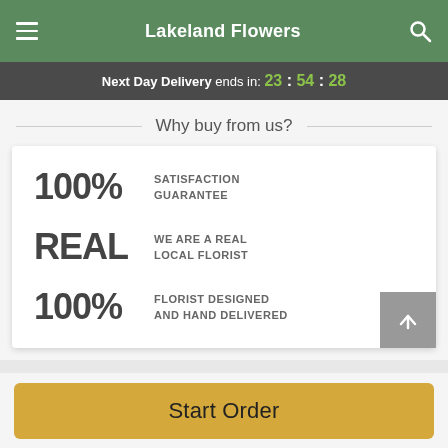Lakeland Flowers
Next Day Delivery ends in: 23:54:28
Why buy from us?
100% SATISFACTION GUARANTEE
REAL WE ARE A REAL LOCAL FLORIST
100% FLORIST DESIGNED AND HAND DELIVERED
Start Order